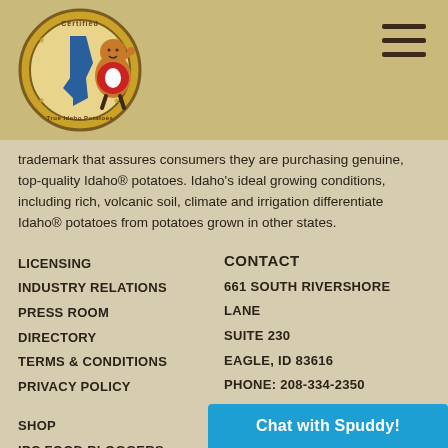[Figure (logo): Certified Idaho Potatoes logo with potato mascot character giving thumbs up]
trademark that assures consumers they are purchasing genuine, top-quality Idaho® potatoes. Idaho's ideal growing conditions, including rich, volcanic soil, climate and irrigation differentiate Idaho® potatoes from potatoes grown in other states.
LICENSING
INDUSTRY RELATIONS
PRESS ROOM
DIRECTORY
TERMS & CONDITIONS
PRIVACY POLICY
SHOP
IPC FOOD BLOGGERS
COST & SIZE
HOW TO
FAQS
CONTACT
661 SOUTH RIVERSHORE LANE
SUITE 230
EAGLE, ID 83616
PHONE: 208-334-2350
FAX: 208-334-2274
MORE
Chat with Spuddy!